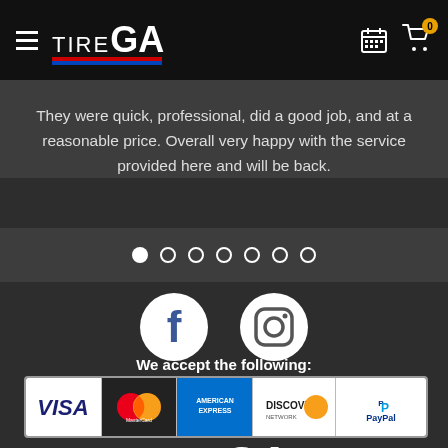[Figure (screenshot): TireGA website navigation bar with hamburger menu, TIRE GA logo with red and blue stripes, calendar icon, and shopping cart icon with badge showing 0]
They were quick, professional, did a good job, and at a reasonable price. Overall very happy with the service provided here and will be back.
[Figure (infographic): Carousel navigation dots - one filled white dot followed by six empty circle dots]
[Figure (infographic): Social media icons: Facebook and Instagram circular white icons]
We accept the following:
[Figure (infographic): Payment method logos: VISA, MasterCard, American Express, Discover Network, PayPal]
[Figure (logo): TireGA logo repeated in footer with TIRE in thin letters and GA in large bold letters, with red and blue horizontal stripes underneath]